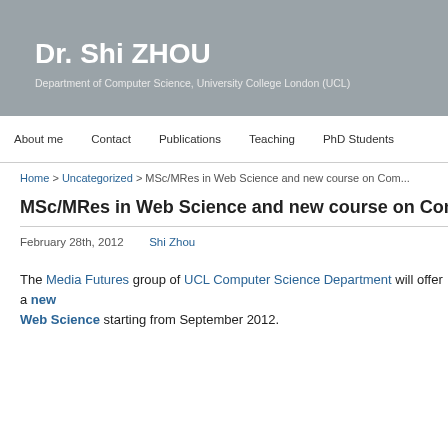Dr. Shi ZHOU
Department of Computer Science, University College London (UCL)
About me  Contact  Publications  Teaching  PhD Students
Home > Uncategorized > MSc/MRes in Web Science and new course on Com...
MSc/MRes in Web Science and new course on Complex Networks & W
February 28th, 2012    Shi Zhou
The Media Futures group of UCL Computer Science Department will offer a new MSc/MRes in Web Science starting from September 2012.